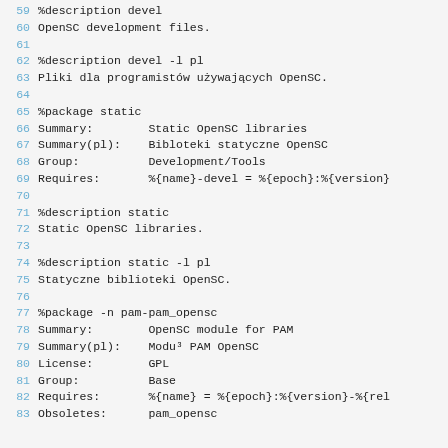59 %description devel
60 OpenSC development files.
61 
62 %description devel -l pl
63 Pliki dla programistów używających OpenSC.
64 
65 %package static
66 Summary:        Static OpenSC libraries
67 Summary(pl):    Bibloteki statyczne OpenSC
68 Group:          Development/Tools
69 Requires:       %{name}-devel = %{epoch}:%{version}
70 
71 %description static
72 Static OpenSC libraries.
73 
74 %description static -l pl
75 Statyczne biblioteki OpenSC.
76 
77 %package -n pam-pam_opensc
78 Summary:        OpenSC module for PAM
79 Summary(pl):    Moduł PAM OpenSC
80 License:        GPL
81 Group:          Base
82 Requires:       %{name} = %{epoch}:%{version}-%{rel
83 Obsoletes:      pam_opensc